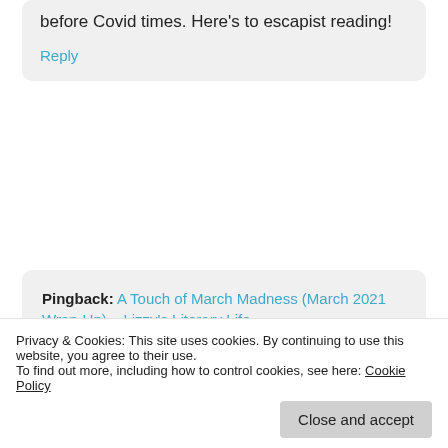before Covid times. Here's to escapist reading!
Reply
Pingback: A Touch of March Madness (March 2021 Wrap-Up) – Lizzy's Literary Life
Pingback: The #WITMonth Annual Review 2021 – Lizzy's Literary Life
Lizzy's Literary Life
Privacy & Cookies: This site uses cookies. By continuing to use this website, you agree to their use. To find out more, including how to control cookies, see here: Cookie Policy
Close and accept